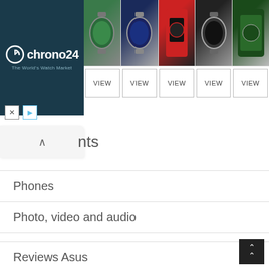[Figure (screenshot): Chrono24 advertisement banner showing watch marketplace with logo on dark blue background, 5 watch thumbnails, and VIEW buttons]
nts
Phones
Photo, video and audio
Poco news
Programs
Realme news
Realme Reviews
Reviews
Reviews Asus